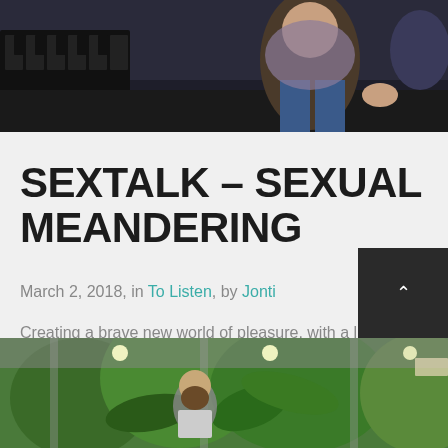[Figure (photo): Top portion of a photo showing two people in a recording studio with mixing equipment visible]
SEXTALK – SEXUAL MEANDERING
March 2, 2018, in To Listen, by Jonti
Creating a brave new world of pleasure, with a little bit of sex robots....
READ MORE
[Figure (photo): Bottom portion showing a bearded man in a market or garden setting with lush green plants]